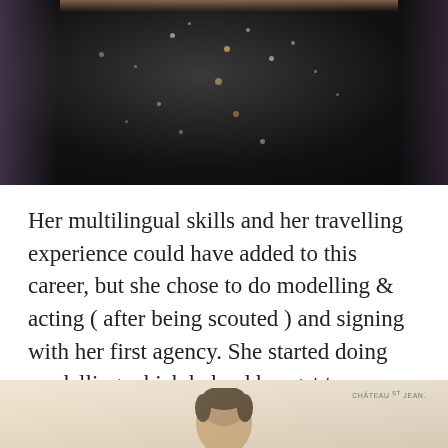[Figure (photo): Cropped photo showing a person wearing a black sequined/sparkly dress or top, torso only visible]
Her multilingual skills and her travelling experience could have added to this career, but she chose to do modelling & acting ( after being scouted ) and signing with her first agency. She started doing modelling which helped her get to an acting agent. Finally, in 2009, she got her first television film The Immortal Voyage of Captain Drake where she played the role of Isabella Drake.
[Figure (photo): Bottom portion of a photo showing a person's head/shoulders at a Chateau St Jean event]